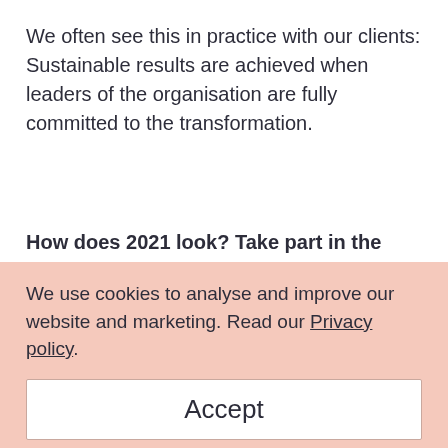We often see this in practice with our clients: Sustainable results are achieved when leaders of the organisation are fully committed to the transformation.
How does 2021 look? Take part in the next
We use cookies to analyse and improve our website and marketing. Read our Privacy policy.
Accept
Decline